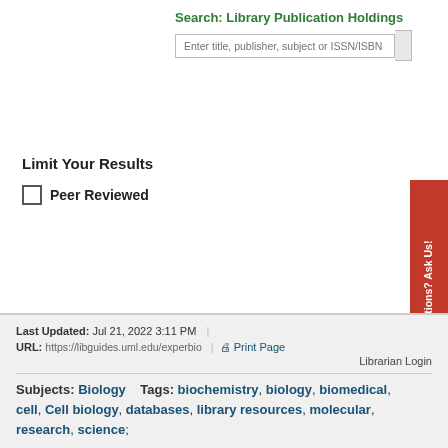Search: Library Publication Holdings
Enter title, publisher, subject or ISSN/ISBN
Limit Your Results
Peer Reviewed
Questions? Ask Us!
Last Updated: Jul 21, 2022 3:11 PM  |  URL: https://libguides.uml.edu/experbio  |  Print Page  Librarian Login  Subjects: Biology  Tags: biochemistry, biology, biomedical, cell, Cell biology, databases, library resources, molecular, research, science;